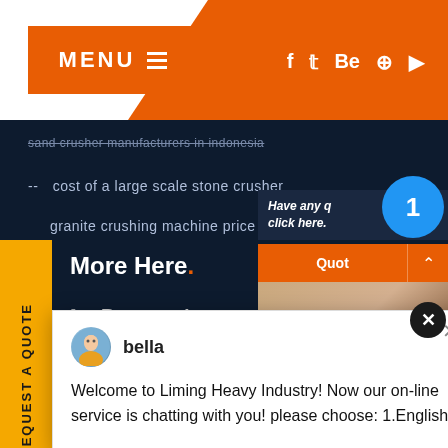MENU ≡  [social icons: f, twitter, Be, pinterest, YouTube]
sand crusher manufacturers in indonesia
-- cost of a large scale stone crusher
granite crushing machine price
REQUEST A QUOTE
More Here.
[social icons: twitter, Be, YouTube, LinkedIn]
[Figure (screenshot): Chat popup with avatar of bella, message: Welcome to Liming Heavy Industry! Now our on-line service is chatting with you! please choose: 1.English]
Have any questions? click here.
Quot ∧
Enquiry
drobilkalm